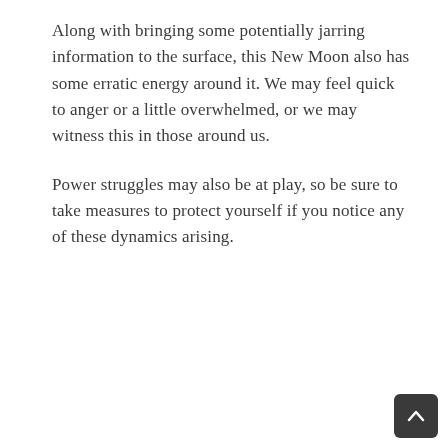Along with bringing some potentially jarring information to the surface, this New Moon also has some erratic energy around it. We may feel quick to anger or a little overwhelmed, or we may witness this in those around us.
Power struggles may also be at play, so be sure to take measures to protect yourself if you notice any of these dynamics arising.